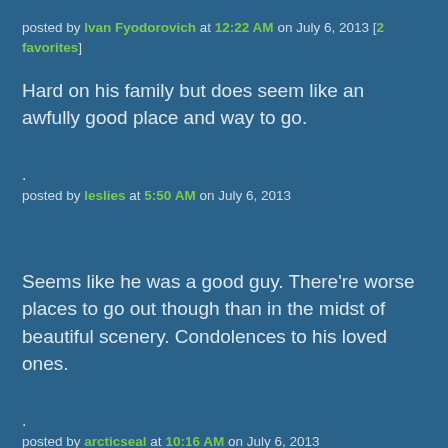posted by Ivan Fyodorovich at 12:22 AM on July 6, 2013 [2 favorites]
Hard on his family but does seem like an awfully good place and way to go.
.
posted by leslies at 5:50 AM on July 6, 2013
Seems like he was a good guy. There're worse places to go out though than in the midst of beautiful scenery. Condolences to his loved ones.
.
posted by arcticseal at 10:16 AM on July 6, 2013